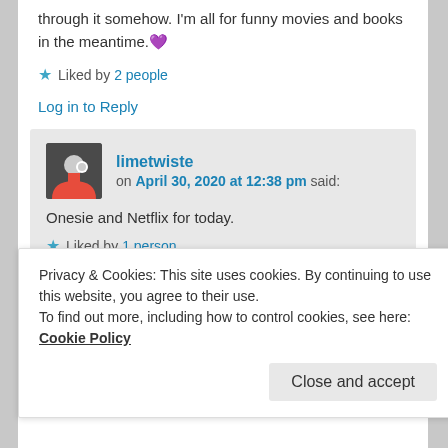through it somehow. I'm all for funny movies and books in the meantime. 💜
★ Liked by 2 people
Log in to Reply
limetwiste on April 30, 2020 at 12:38 pm said:
Onesie and Netflix for today.
★ Liked by 1 person
Privacy & Cookies: This site uses cookies. By continuing to use this website, you agree to their use.
To find out more, including how to control cookies, see here: Cookie Policy